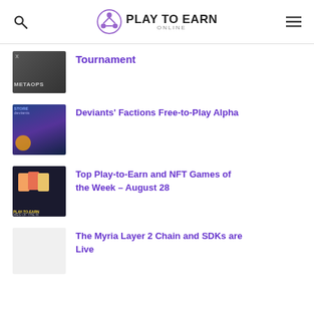Play to Earn Online
Tournament
Deviants' Factions Free-to-Play Alpha
Top Play-to-Earn and NFT Games of the Week – August 28
The Myria Layer 2 Chain and SDKs are Live